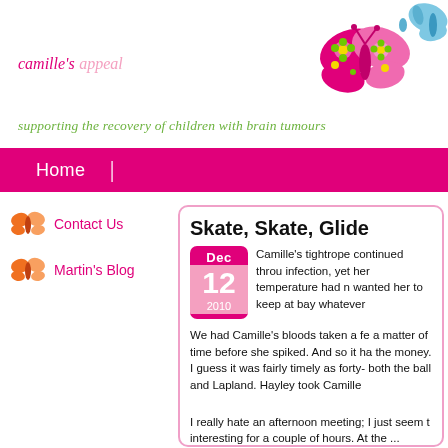camille's appeal
supporting the recovery of children with brain tumours
[Figure (illustration): Pink butterfly with green and yellow flower decorations on wings]
[Figure (illustration): Small blue butterfly, partially visible at top right]
Home
Contact Us
Martin's Blog
Skate, Skate, Glide
Dec 12 2010
Camille's tightrope continued throu infection, yet her temperature had n wanted her to keep at bay whatever We had Camille's bloods taken a fe a matter of time before she spiked. And so it ha the money. I guess it was fairly timely as forty- both the ball and Lapland. Hayley took Camille
I really hate an afternoon meeting; I just seem t interesting for a couple of hours. At the ...